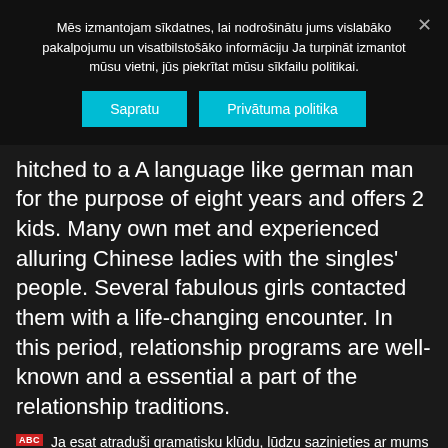Mēs izmantojam sīkdatnes, lai nodrošinātu jums vislabāko pakalpojumu un visatbilstošāko informāciju Ja turpināt izmantot mūsu vietni, jūs piekrītat mūsu sīkfailu politikai.
Sapratu | Privātuma politika
hitched to a A language like german man for the purpose of eight years and offers 2 kids. Many own met and experienced alluring Chinese ladies with the singles' people. Several fabulous girls contacted them with a life-changing encounter. In this period, relationship programs are well-known and a essential a part of the relationship traditions.
Ja esat atraduši gramatisku kļūdu, lūdzu sazinieties ar mums spiežot Ctrl+Enter.
Share